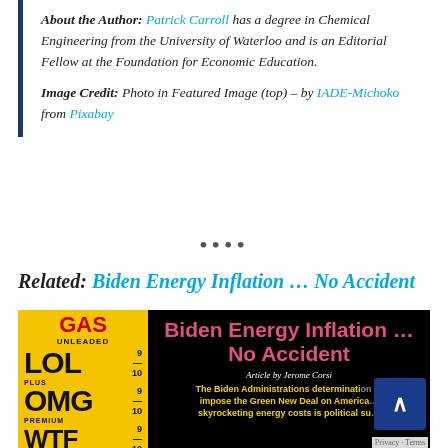About the Author: Patrick Carroll has a degree in Chemical Engineering from the University of Waterloo and is an Editorial Fellow at the Foundation for Economic Education.
Image Credit: Photo in Featured Image (top) – by IADE-Michoko from Pixabay
••••
Related: Biden Energy Inflation … No Accident
[Figure (illustration): Featured image for article 'Biden Energy Inflation … No Accident' by Jerome Corsi. Left half shows a yellow gas station price sign with humorous grades: GAS UNLEADED LOL 9/10, PLUS OMG 9/10, PREMIUM WTF 9/10. Right half on black background shows the article title in pink bold text, byline 'Article by Jerome Corsi', and yellow bold text 'The Biden Administrations determination to impose the Green New Deal on America skyrocketing energy costs is political su...' with LIBERTY BEACON logo partially visible. A blue scroll-to-top button and Privacy/Terms bar are visible.]